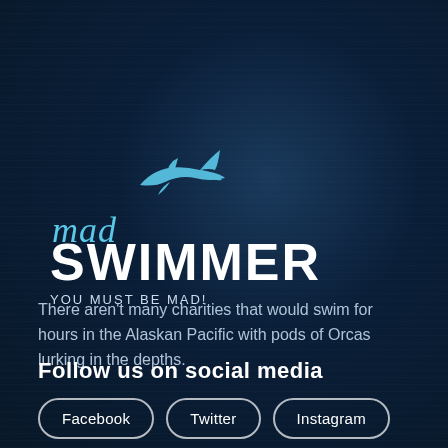[Figure (logo): Mad Swimmer logo with a shark silhouette in light blue above the text 'mad' in cursive light blue, 'SWIMMER' in large bold white uppercase, and tagline 'YOU MUST BE MAD!' in white uppercase small text]
There aren't many charities that would swim for hours in the Alaskan Pacific with pods of Orcas lurking in the depths.
Follow us on social media
Facebook
Twitter
Instagram